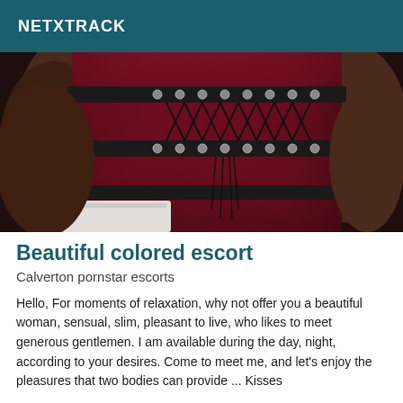NETXTRACK
[Figure (photo): Close-up photo of a person wearing a dark red/maroon velvet corset with black lace-up detailing and metal eyelets, against a light background.]
Beautiful colored escort
Calverton pornstar escorts
Hello, For moments of relaxation, why not offer you a beautiful woman, sensual, slim, pleasant to live, who likes to meet generous gentlemen. I am available during the day, night, according to your desires. Come to meet me, and let's enjoy the pleasures that two bodies can provide ... Kisses